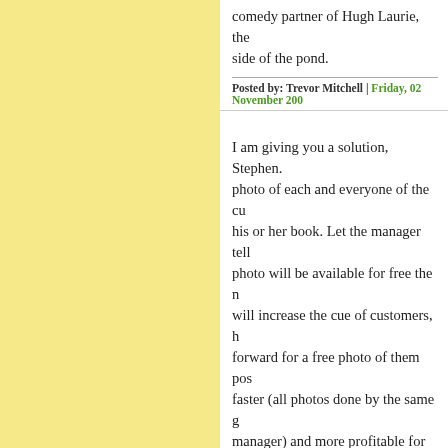comedy partner of Hugh Laurie, the side of the pond.
Posted by: Trevor Mitchell | Friday, 02 November 200...
I am giving you a solution, Stephen. photo of each and everyone of the cu his or her book. Let the manager tell photo will be available for free the n will increase the cue of customers, h forward for a free photo of them pos faster (all photos done by the same g manager) and more profitable for yo
Posted by: Clara | Friday, 02 November 2007 at 01:05
Ken,
Really? I've never heard of the word felonious, and my American is pretty teenagers....